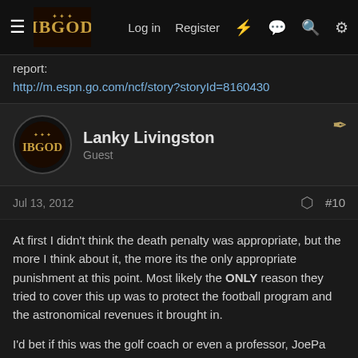IBGOD forum — Log in | Register
report:
http://m.espn.go.com/ncf/story?storyId=8160430
Lanky Livingston
Guest
Jul 13, 2012   #10
At first I didn't think the death penalty was appropriate, but the more I think about it, the more its the only appropriate punishment at this point. Most likely the ONLY reason they tried to cover this up was to protect the football program and the astronomical revenues it brought in.

I'd bet if this was the golf coach or even a professor, JoePa would have been first in line to call the authorities!
Goaldeje